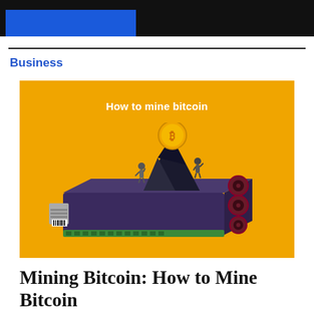Business
[Figure (illustration): Orange background illustration showing a GPU mining rig with a large black mountain/rock shape and a gold Bitcoin coin on top, with small miner figures, and text 'How to mine bitcoin' in white above the illustration.]
Mining Bitcoin: How to Mine Bitcoin